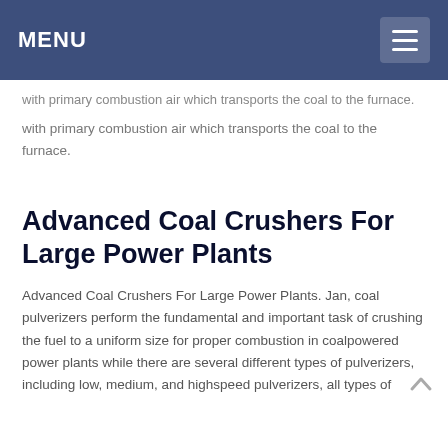MENU
with primary combustion air which transports the coal to the furnace.
Advanced Coal Crushers For Large Power Plants
Advanced Coal Crushers For Large Power Plants. Jan, coal pulverizers perform the fundamental and important task of crushing the fuel to a uniform size for proper combustion in coalpowered power plants while there are several different types of pulverizers, including low, medium, and highspeed pulverizers, all types of